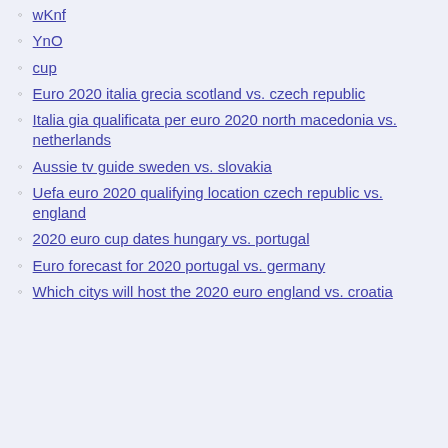wKnf
YnO
cup
Euro 2020 italia grecia scotland vs. czech republic
Italia gia qualificata per euro 2020 north macedonia vs. netherlands
Aussie tv guide sweden vs. slovakia
Uefa euro 2020 qualifying location czech republic vs. england
2020 euro cup dates hungary vs. portugal
Euro forecast for 2020 portugal vs. germany
Which citys will host the 2020 euro england vs. croatia